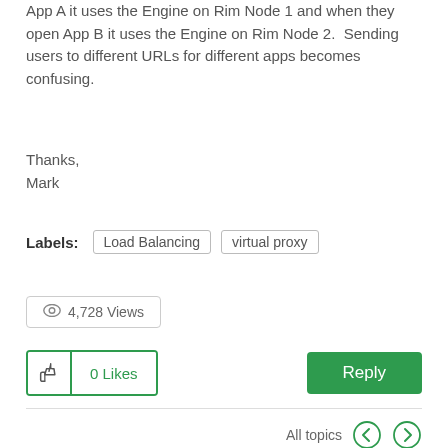App A it uses the Engine on Rim Node 1 and when they open App B it uses the Engine on Rim Node 2.  Sending users to different URLs for different apps becomes confusing.
Thanks,
Mark
Labels:  Load Balancing  virtual proxy
4,728 Views
0 Likes
Reply
All topics